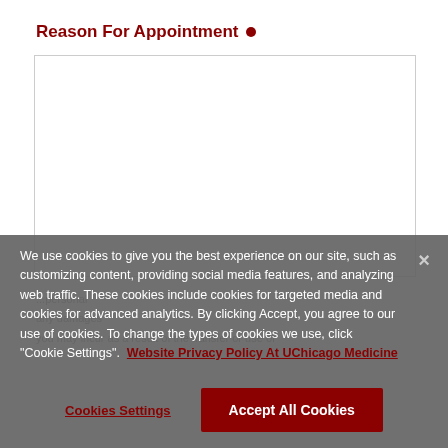Reason For Appointment •
[Figure (screenshot): Empty textarea input box for appointment reason]
We use cookies to give you the best experience on our site, such as customizing content, providing social media features, and analyzing web traffic. These cookies include cookies for targeted media and cookies for advanced analytics. By clicking Accept, you agree to our use of cookies. To change the types of cookies we use, click "Cookie Settings".  Website Privacy Policy At UChicago Medicine
Cookies Settings
Accept All Cookies